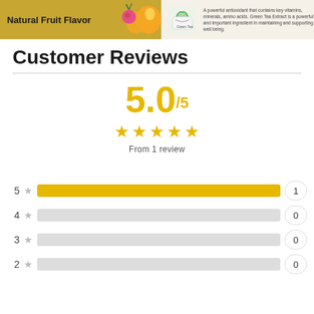[Figure (infographic): Product header banner with 'Natural Fruit Flavor' text on golden background with fruit imagery on the left, and Green Tea icon with descriptive text on the right]
Customer Reviews
[Figure (infographic): Rating summary showing 5.0/5 score in large gold text, five gold stars, and 'From 1 review' text below]
[Figure (bar-chart): Rating breakdown]